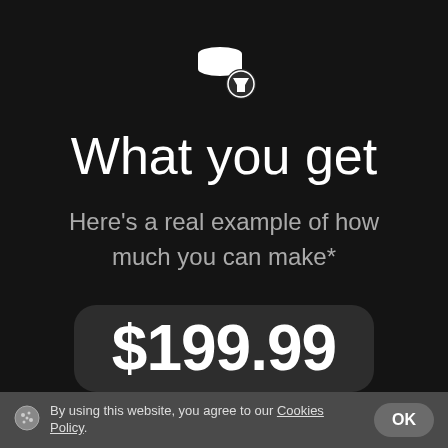[Figure (logo): Stack of coins with a funnel/filter icon overlay — white icon on dark background]
What you get
Here’s a real example of how much you can make*
$199.99
By using this website, you agree to our Cookies Policy.  OK